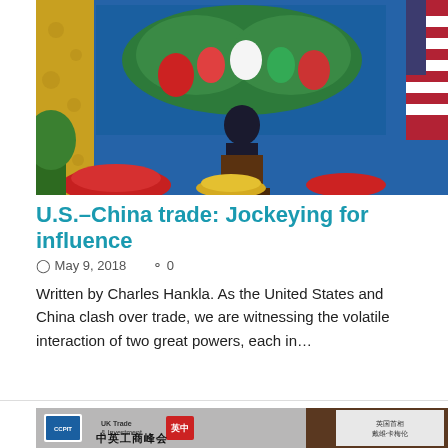[Figure (photo): A person at a podium speaking at a formal event, with a large blue screen behind showing floral arrangements. An American flag is visible on the right side. Red and white floral arrangements are in the foreground.]
U.S.–China trade: Jockeying for influence
May 9, 2018   0
Written by Charles Hankla. As the United States and China clash over trade, we are witnessing the volatile interaction of two great powers, each in…
[Figure (photo): A conference or summit venue with Chinese and English text. Signs read 'CCPIT', 'UK Trade & Investment', and '中英工商峰会' (China-UK Business Summit). A projection screen on the right shows Chinese text including '英国首相' and '戴维·卡梅伦'.]